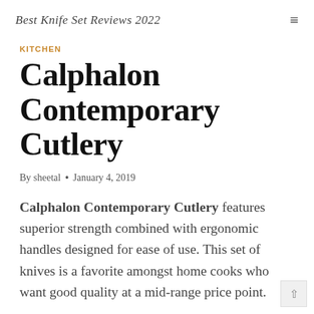Best Knife Set Reviews 2022
KITCHEN
Calphalon Contemporary Cutlery
By sheetal • January 4, 2019
Calphalon Contemporary Cutlery features superior strength combined with ergonomic handles designed for ease of use. This set of knives is a favorite amongst home cooks who want good quality at a mid-range price point.